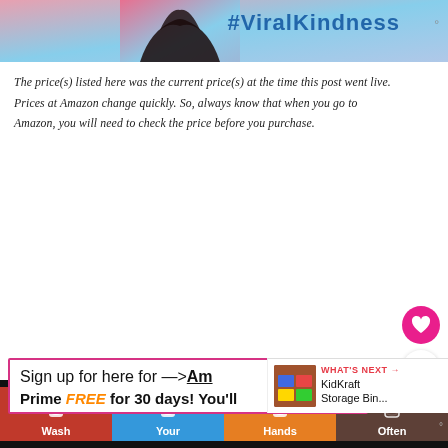[Figure (photo): Top banner image with heart hand silhouette and #ViralKindness text on sky background]
The price(s) listed here was the current price(s) at the time this post went live. Prices at Amazon change quickly. So, always know that when you go to Amazon, you will need to check the price before you purchase.
[Figure (infographic): Sign up box with pink border, text: Sign up for here for —>Am... and Price FREE for 30 days! You'll]
[Figure (infographic): What's Next overlay with KidKraft Storage Bin thumbnail]
[Figure (infographic): Bottom ad banner: Wash Your Hands Often with colorful hand-washing icons]